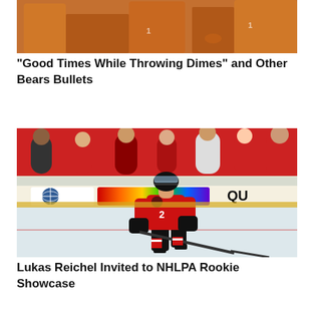[Figure (photo): Partial photo showing people in orange jerseys/shirts from the torso down, likely a sports team or sideline scene]
“Good Times While Throwing Dimes” and Other Bears Bullets
[Figure (photo): Hockey player Lukas Reichel in a Chicago Blackhawks red jersey number 2, skating on ice during a game with fans in the background]
Lukas Reichel Invited to NHLPA Rookie Showcase